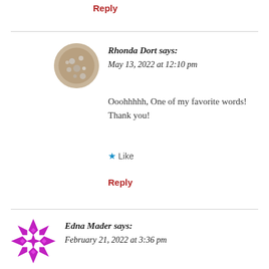Reply
Rhonda Dort says:
May 13, 2022 at 12:10 pm
Ooohhhhh, One of my favorite words! Thank you!
★ Like
Reply
Edna Mader says:
February 21, 2022 at 3:36 pm